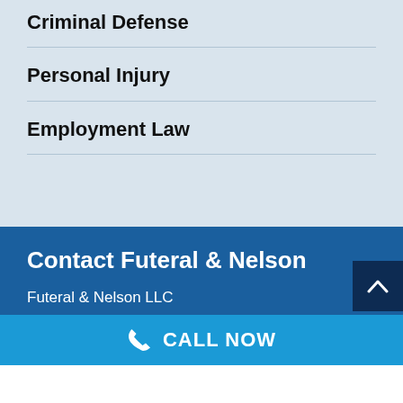Criminal Defense
Personal Injury
Employment Law
Contact Futeral & Nelson
Futeral & Nelson LLC
1004 Anna Knapp Blvd. Mt. Pleasant, SC 29464
CALL NOW